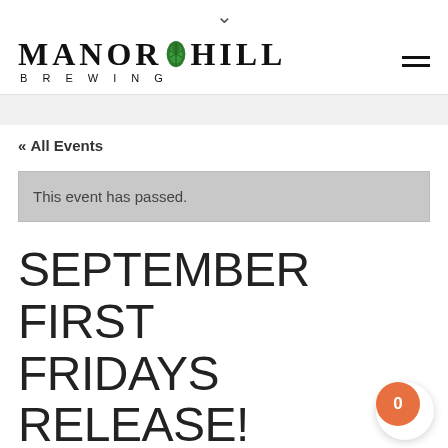Manor Hill Brewing — navigation header with logo and hamburger menu
« All Events
This event has passed.
SEPTEMBER FIRST FRIDAYS RELEASE! LORE
SEPTEMBER 7, 2018 @ 4:00